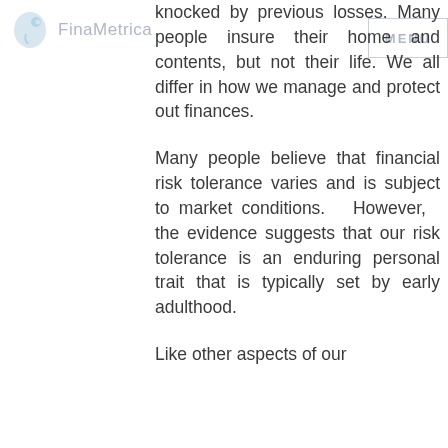[Figure (logo): FinaMetrica logo with light blue face/profile icon and gray text]
knocked by previous losses. Many people insure their home and contents, but not their life. We all differ in how we manage and protect out finances.
Many people believe that financial risk tolerance varies and is subject to market conditions. However, the evidence suggests that our risk tolerance is an enduring personal trait that is typically set by early adulthood.
Like other aspects of our